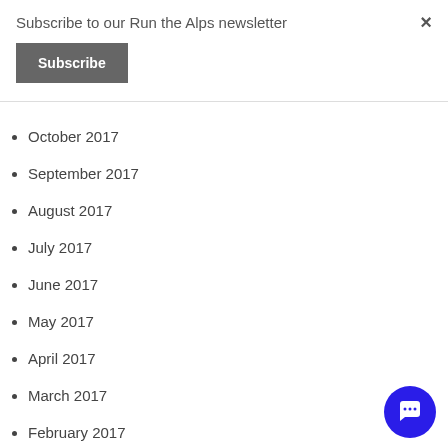Subscribe to our Run the Alps newsletter
Subscribe
×
October 2017
September 2017
August 2017
July 2017
June 2017
May 2017
April 2017
March 2017
February 2017
January 2017
December 2016